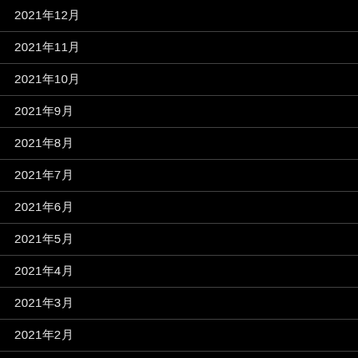2021年12月
2021年11月
2021年10月
2021年9月
2021年8月
2021年7月
2021年6月
2021年5月
2021年4月
2021年3月
2021年2月
2021年1月
2020年12月